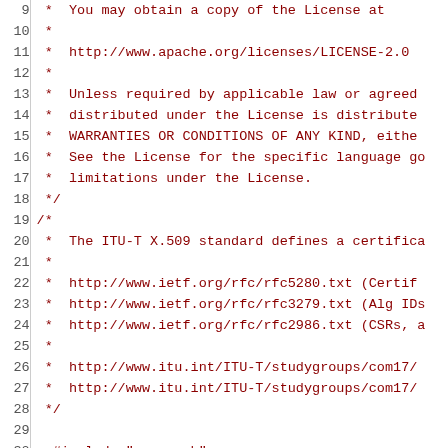Source code listing lines 9-30, Apache License comment block and ITU-T X.509 comment block with includes
[Figure (screenshot): Code editor view showing source code lines 9 through 30 with line numbers on left, red monospace code on right. Lines 9-18 show Apache License comment. Lines 19-28 show ITU-T X.509 standard comment. Line 29 is blank. Line 30 begins #include statement.]